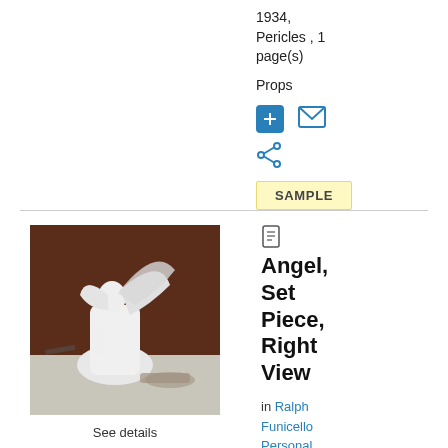1934, Pericles , 1 page(s)
Props
[Figure (other): Action icons: plus button, email envelope, share icon, and a SAMPLE button]
[Figure (photo): Photograph of a white angel statue (set piece, right view) with large wings, kneeling, in a workshop or stage setting with wooden background]
See details
Angel, Set Piece, Right View
in Ralph Funicello Personal Papers (Julius